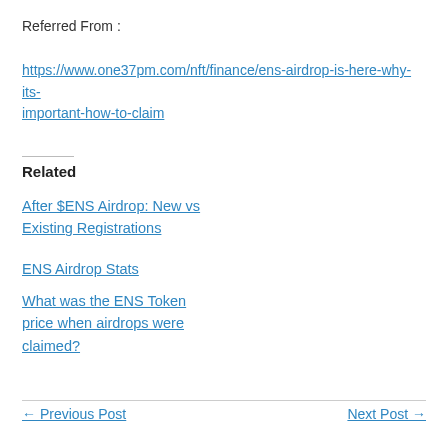Referred From :
https://www.one37pm.com/nft/finance/ens-airdrop-is-here-why-its-important-how-to-claim
Related
After $ENS Airdrop: New vs Existing Registrations
ENS Airdrop Stats
What was the ENS Token price when airdrops were claimed?
← Previous Post    Next Post →